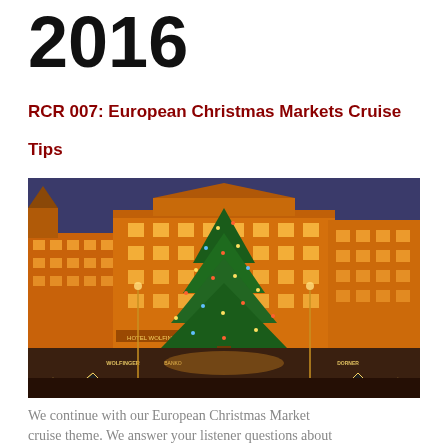2016
RCR 007: European Christmas Markets Cruise Tips
[Figure (photo): European Christmas market at night with a large decorated Christmas tree in a town square, illuminated historic buildings, and market stalls with pyramid-shaped lights. Signs visible include WOLFINGER and BANKO.]
We continue with our European Christmas Market cruise theme. We answer your listener questions about